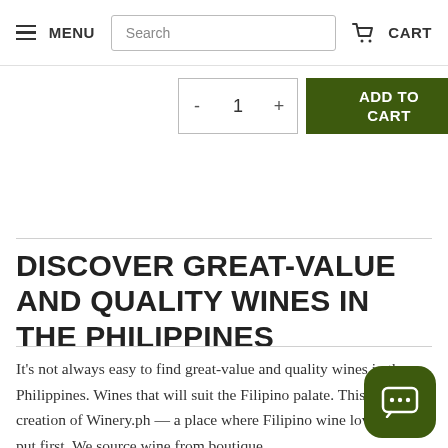MENU | Search | CART
- 1 + ADD TO CART
DISCOVER GREAT-VALUE AND QUALITY WINES IN THE PHILIPPINES
It's not always easy to find great-value and quality wines in the Philippines. Wines that will suit the Filipino palate. This led to the creation of Winery.ph — a place where Filipino wine lovers are put first. We source wine from boutique